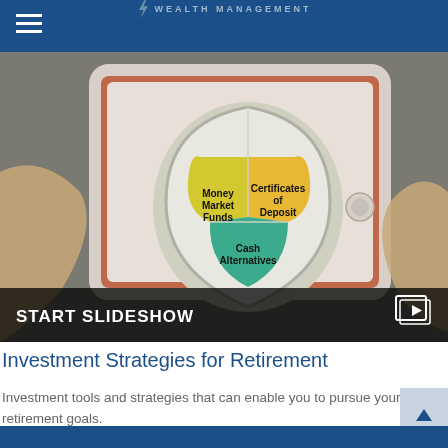WEALTH MANAGEMENT
[Figure (photo): Hands holding a tablet displaying a shield diagram with sections labeled Money Market Funds, Certificates of Deposit, and Cash Alternatives. Overlay at bottom reads START SLIDESHOW with a slideshow icon.]
Investment Strategies for Retirement
Investment tools and strategies that can enable you to pursue your retirement goals.